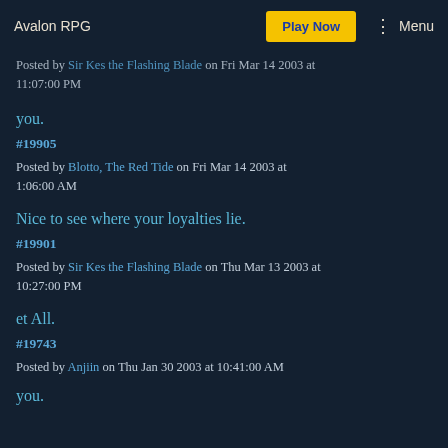Avalon RPG | Play Now | Menu
Posted by Sir Kes the Flashing Blade on Fri Mar 14 2003 at 11:07:00 PM
you.
#19905
Posted by Blotto, The Red Tide on Fri Mar 14 2003 at 1:06:00 AM
Nice to see where your loyalties lie.
#19901
Posted by Sir Kes the Flashing Blade on Thu Mar 13 2003 at 10:27:00 PM
et All.
#19743
Posted by Anjiin on Thu Jan 30 2003 at 10:41:00 AM
you.